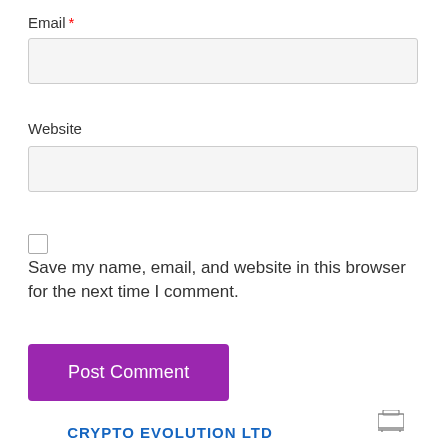Email *
Website
Save my name, email, and website in this browser for the next time I comment.
Post Comment
CRYPTO EVOLUTION LTD